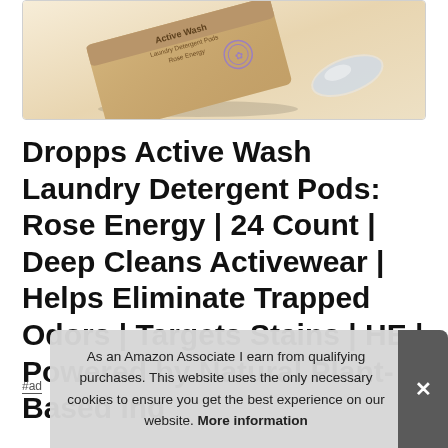[Figure (photo): Product photo of Dropps Active Wash Laundry Detergent Pods box (kraft/brown cardboard packaging) with a single pod visible, on white background]
Dropps Active Wash Laundry Detergent Pods: Rose Energy | 24 Count | Deep Cleans Activewear | Helps Eliminate Trapped Odors | Targets Stains | HE | Powered by Natural Plant-Based Ing…
#ad
As an Amazon Associate I earn from qualifying purchases. This website uses the only necessary cookies to ensure you get the best experience on our website. More information